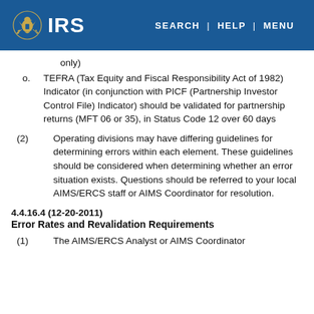IRS | SEARCH | HELP | MENU
only)
o. TEFRA (Tax Equity and Fiscal Responsibility Act of 1982) Indicator (in conjunction with PICF (Partnership Investor Control File) Indicator) should be validated for partnership returns (MFT 06 or 35), in Status Code 12 over 60 days
(2) Operating divisions may have differing guidelines for determining errors within each element. These guidelines should be considered when determining whether an error situation exists. Questions should be referred to your local AIMS/ERCS staff or AIMS Coordinator for resolution.
4.4.16.4 (12-20-2011)
Error Rates and Revalidation Requirements
(1) The AIMS/ERCS Analyst or AIMS Coordinator